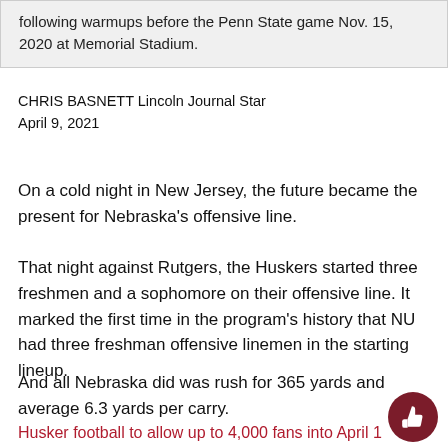following warmups before the Penn State game Nov. 15, 2020 at Memorial Stadium.
CHRIS BASNETT Lincoln Journal Star
April 9, 2021
On a cold night in New Jersey, the future became the present for Nebraska's offensive line.
That night against Rutgers, the Huskers started three freshmen and a sophomore on their offensive line. It marked the first time in the program's history that NU had three freshman offensive linemen in the starting lineup.
And all Nebraska did was rush for 365 yards and average 6.3 yards per carry.
Husker football to allow up to 4,000 fans into April 1